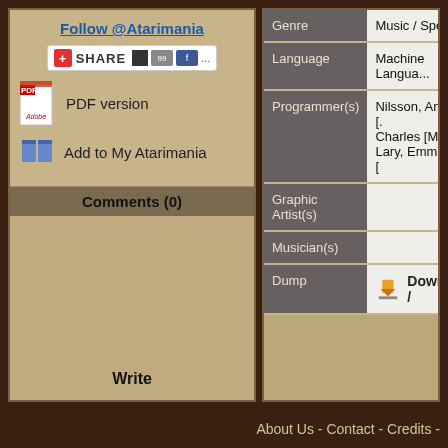Follow @Atarimania
SHARE
PDF version
Add to My Atarimania
Comments (0)
Write
|  |  |
| --- | --- |
| Genre | Music / Speech |
| Language | Machine Langua... |
| Programmer(s) | Nilsson, Anders [... Charles [M-Code... Lary, Emmanuel [...] |
| Graphic Artist(s) |  |
| Musician(s) |  |
| Dump | Download / ... |
About Us - Contact - Credits -